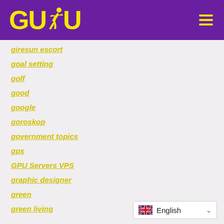GUDU (logo with runner icon and hamburger menu)
giresun escort
goal setting
golf
good
google
goroskop
government topics
gps
GPU Servers VPS
graphic designer
green
green living
English (language selector)